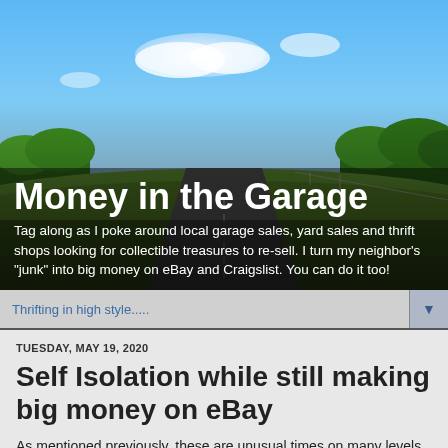[Figure (photo): Header banner photo of a road receding into the distance with blue sky, white clouds, green trees and grass on the sides. Dark overlay at the bottom with blog title and subtitle text.]
Money in the Garage
Tag along as I poke around local garage sales, yard sales and thrift shops looking for collectible treasures to re-sell. I turn my neighbor's "junk" into big money on eBay and Craigslist. You can do it too!
Thrifting in high style.....
TUESDAY, MAY 19, 2020
Self Isolation while still making big money on eBay
As mentioned previously, these are unusual times on many levels. I'll dispatch with the "stay safe" advise. At this point